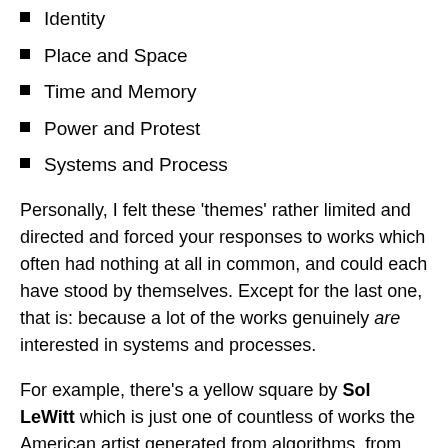Identity
Place and Space
Time and Memory
Power and Protest
Systems and Process
Personally, I felt these ‘themes’ rather limited and directed and forced your responses to works which often had nothing at all in common, and could each have stood by themselves. Except for the last one, that is: because a lot of the works genuinely are interested in systems and processes.
For example, there’s a yellow square by Sol LeWitt which is just one of countless of works the American artist generated from algorithms, from sets of rules about geometry, shapes and colours, which he created and then